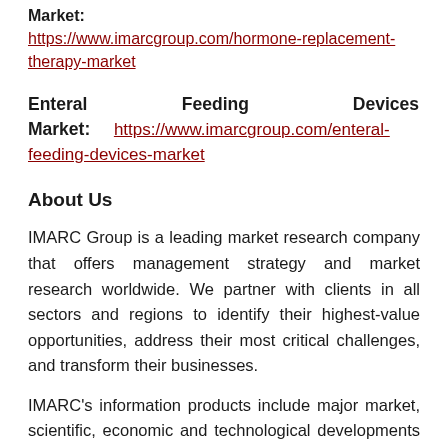Market: https://www.imarcgroup.com/hormone-replacement-therapy-market
Enteral Feeding Devices Market: https://www.imarcgroup.com/enteral-feeding-devices-market
About Us
IMARC Group is a leading market research company that offers management strategy and market research worldwide. We partner with clients in all sectors and regions to identify their highest-value opportunities, address their most critical challenges, and transform their businesses.
IMARC's information products include major market, scientific, economic and technological developments for business leaders in pharmaceutical, industrial, and high technology organizations. Market forecasts and industry